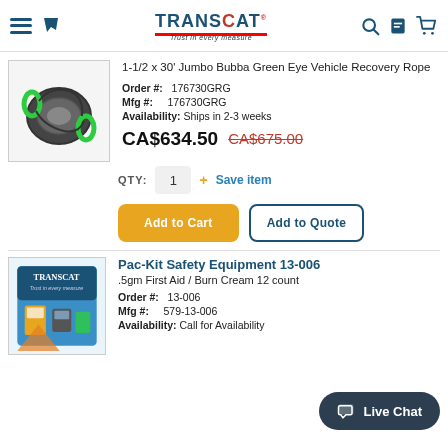TRANSCAT — Trust in every measure
1-1/2 x 30' Jumbo Bubba Green Eye Vehicle Recovery Rope
Order #: 176730GRG
Mfg #: 176730GRG
Availability: Ships in 2-3 weeks
CA$634.50  CA$675.00
QTY: 1  + Save item
Add to Cart | Add to Quote
Pac-Kit Safety Equipment 13-006
.5gm First Aid / Burn Cream 12 count
Order #: 13-006
Mfg #: 579-13-006
Availability: Call for Availability
Live Chat